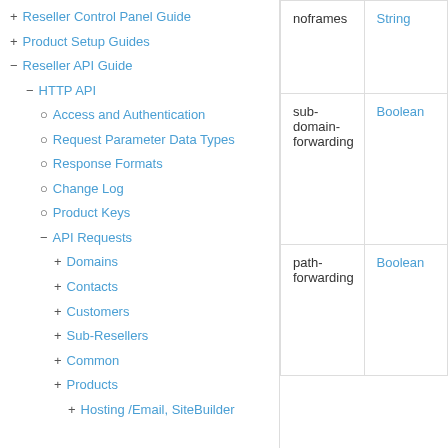+ Reseller Control Panel Guide
+ Product Setup Guides
- Reseller API Guide
- HTTP API
○ Access and Authentication
○ Request Parameter Data Types
○ Response Formats
○ Change Log
○ Product Keys
- API Requests
+ Domains
+ Contacts
+ Customers
+ Sub-Resellers
+ Common
+ Products
+ Hosting /Email, SiteBuilder
| Parameter | Type |
| --- | --- |
| noframes | String |
| sub-domain-forwarding | Boolean |
| path-forwarding | Boolean |